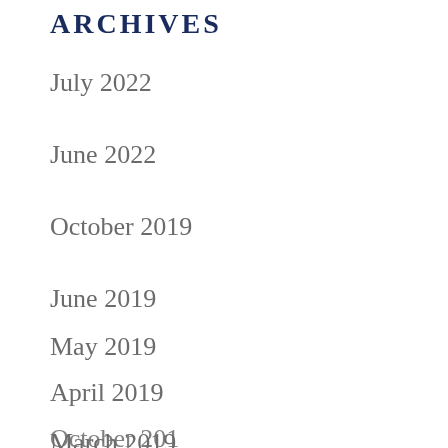Archives
July 2022
June 2022
October 2019
June 2019
May 2019
April 2019
March 2019
February 2019
October 201…